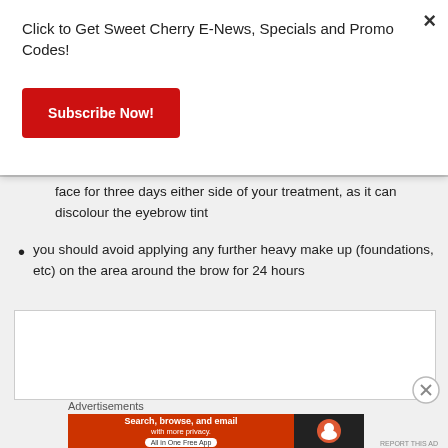Click to Get Sweet Cherry E-News, Specials and Promo Codes!
[Figure (other): Red 'Subscribe Now!' button]
face for three days either side of your treatment, as it can discolour the eyebrow tint
you should avoid applying any further heavy make up (foundations, etc) on the area around the brow for 24 hours
[Figure (other): White advertisement box placeholder]
Advertisements
[Figure (other): DuckDuckGo advertisement banner: Search, browse, and email with more privacy. All in One Free App]